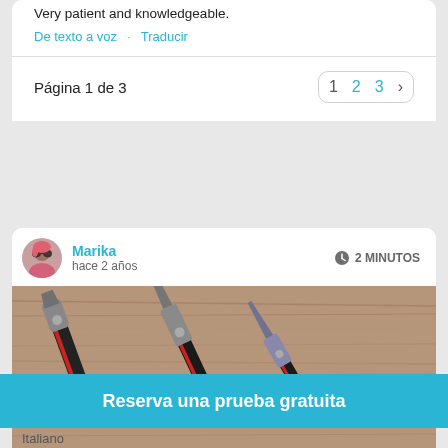Very patient and knowledgeable.
De texto a voz · Traducir
Página 1 de 3
1  2  3  ›
Marika
hace 2 años
⏱ 2 MINUTOS
[Figure (photo): Photo of pliers and tools laid on a wooden surface]
Reserva una prueba gratuita
Italiano